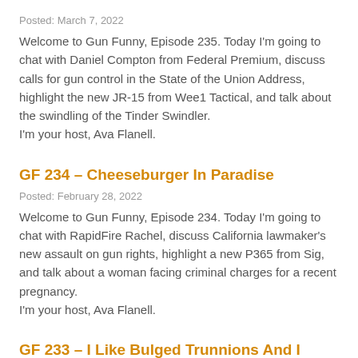Posted: March 7, 2022
Welcome to Gun Funny, Episode 235. Today I'm going to chat with Daniel Compton from Federal Premium, discuss calls for gun control in the State of the Union Address, highlight the new JR-15 from Wee1 Tactical, and talk about the swindling of the Tinder Swindler. I'm your host, Ava Flanell.
GF 234 – Cheeseburger In Paradise
Posted: February 28, 2022
Welcome to Gun Funny, Episode 234. Today I'm going to chat with RapidFire Rachel, discuss California lawmaker's new assault on gun rights, highlight a new P365 from Sig, and talk about a woman facing criminal charges for a recent pregnancy. I'm your host, Ava Flanell.
GF 233 – I Like Bulged Trunnions And I